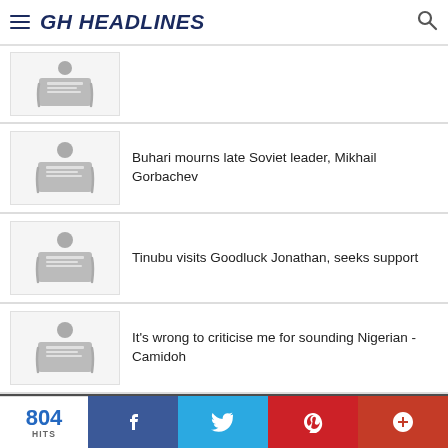GH HEADLINES
Buhari mourns late Soviet leader, Mikhail Gorbachev
Tinubu visits Goodluck Jonathan, seeks support
It's wrong to criticise me for sounding Nigerian - Camidoh
804 HITS